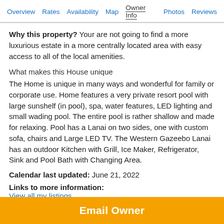Overview  Rates  Availability  Map  Owner Info  Photos  Reviews
Why this property? Your are not going to find a more luxurious estate in a more centrally located area with easy access to all of the local amenities.

What makes this House unique
The Home is unique in many ways and wonderful for family or corporate use. Home features a very private resort pool with large sunshelf (in pool), spa, water features, LED lighting and small wading pool. The entire pool is rather shallow and made for relaxing. Pool has a Lanai on two sides, one with custom sofa, chairs and Large LED TV. The Western Gazeebo Lanai has an outdoor Kitchen with Grill, Ice Maker, Refrigerator, Sink and Pool Bath with Changing Area.
Calendar last updated: June 21, 2022
Links to more information:
View all my listings